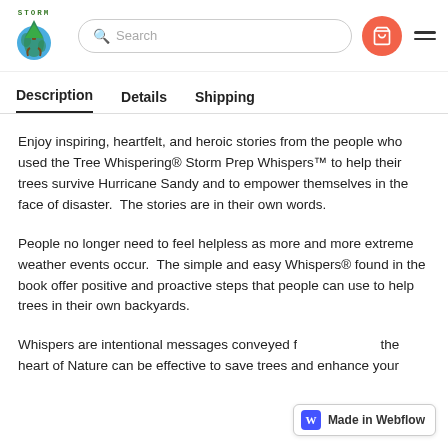STORM logo, Search bar, Cart button, Hamburger menu
Description | Details | Shipping
Enjoy inspiring, heartfelt, and heroic stories from the people who used the Tree Whispering® Storm Prep Whispers™ to help their trees survive Hurricane Sandy and to empower themselves in the face of disaster.  The stories are in their own words.
People no longer need to feel helpless as more and more extreme weather events occur.  The simple and easy Whispers® found in the book offer positive and proactive steps that people can use to help trees in their own backyards.
Whispers are intentional messages conveyed f… the heart of Nature can be effective to save trees and enhance your